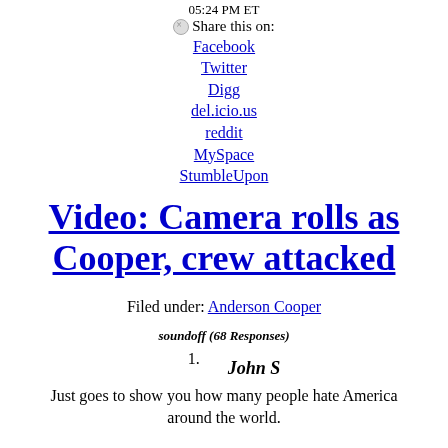05:24 PM ET
Share this on:
Facebook
Twitter
Digg
del.icio.us
reddit
MySpace
StumbleUpon
Video: Camera rolls as Cooper, crew attacked
Filed under: Anderson Cooper
soundoff (68 Responses)
1. John S
Just goes to show you how many people hate America around the world.